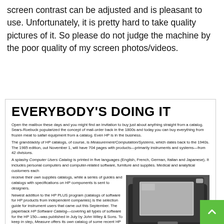screen contrast can be adjusted and is pleasant to use. Unfortunately, it is pretty hard to take quality pictures of it. So please do not judge the machine by the poor quality of my screen photos/videos.
EVERYBODY'S DOING IT
Open the mailbox these days and you might find an invitation to buy just about anything straight from a catalog. Sears-Roebuck popularized the concept of mail-order back in the 1800s and today you can buy everything from frozen meat to safari equipment from a catalog. Even HP is in the business. The granddaddy of HP catalogs, of course, is Measurement/Computation/Systems, which dates back to the 1940s. The 1985 edition, out November 1, will have 704 pages with products—primarily instruments and systems—from 42 divisions. A splashy Computer Users Catalog is printed in five languages (English, French, German, Italian and Japanese). It includes personal computers and computer-related software, furniture and supplies. Medical and analytical customers each receive their own supplies catalogs, while a series of guides and catalogs with specifications on HP components is sent to designers. Newest addition to the HP PLUS program (catalogs of software for HP products from independent companies) is the selection guide for instrument users that came out this September. The paperback HP Software Catalog—covering all types of software for the HP 150—was published in July by John Wiley & Sons. To keep in step, Measure offers its own catalog of some recent HP products.
[Figure (photo): A briefcase-style HP portable computer open, showing the screen and keyboard, photographed from above at an angle.]
Travel in style with